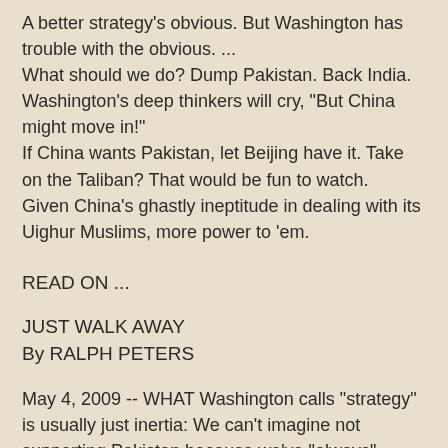A better strategy's obvious. But Washington has trouble with the obvious. ...
What should we do? Dump Pakistan. Back India.
Washington's deep thinkers will cry, "But China might move in!"
If China wants Pakistan, let Beijing have it. Take on the Taliban? That would be fun to watch.
Given China's ghastly ineptitude in dealing with its Uighur Muslims, more power to 'em.
READ ON ...
JUST WALK AWAY
By RALPH PETERS
May 4, 2009 -- WHAT Washington calls "strategy" is usually just inertia: We can't imagine not supporting Pakistan because we've "always" supported Pakistan.
No matter how shamelessly Pakistan's leaders looted their own country, protected the Taliban, sponsored terror attacks on India, demanded aid and told us to kiss off when we